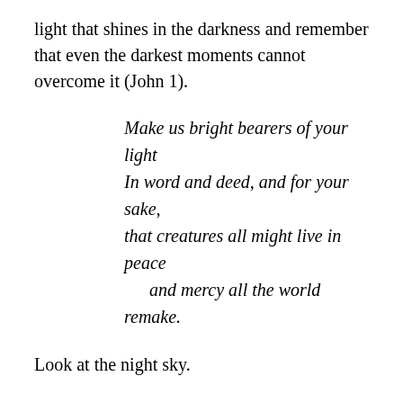light that shines in the darkness and remember that even the darkest moments cannot overcome it (John 1).
Make us bright bearers of your light
In word and deed, and for your sake,
that creatures all might live in peace
and mercy all the world remake.
Look at the night sky.
Look at the pictures.
Soak in the wonder, the splendor of it all.
And then go out into the world and share some of that